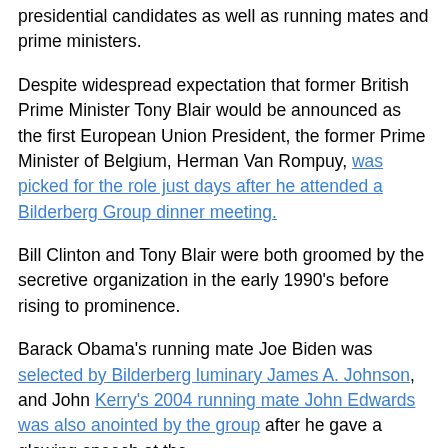presidential candidates as well as running mates and prime ministers.
Despite widespread expectation that former British Prime Minister Tony Blair would be announced as the first European Union President, the former Prime Minister of Belgium, Herman Van Rompuy, was picked for the role just days after he attended a Bilderberg Group dinner meeting.
Bill Clinton and Tony Blair were both groomed by the secretive organization in the early 1990's before rising to prominence.
Barack Obama's running mate Joe Biden was selected by Bilderberg luminary James A. Johnson, and John Kerry's 2004 running mate John Edwards was also anointed by the group after he gave a glowing speech at the